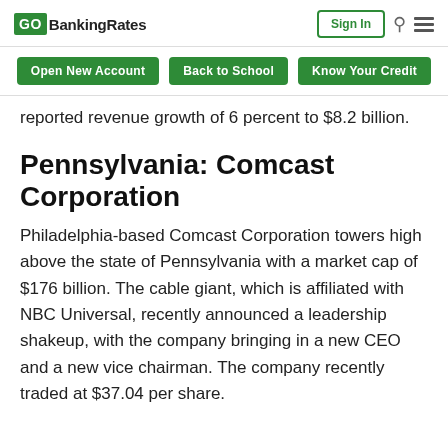GOBankingRates — Sign In
Open New Account | Back to School | Know Your Credit
reported revenue growth of 6 percent to $8.2 billion.
Pennsylvania: Comcast Corporation
Philadelphia-based Comcast Corporation towers high above the state of Pennsylvania with a market cap of $176 billion. The cable giant, which is affiliated with NBC Universal, recently announced a leadership shakeup, with the company bringing in a new CEO and a new vice chairman. The company recently traded at $37.04 per share.